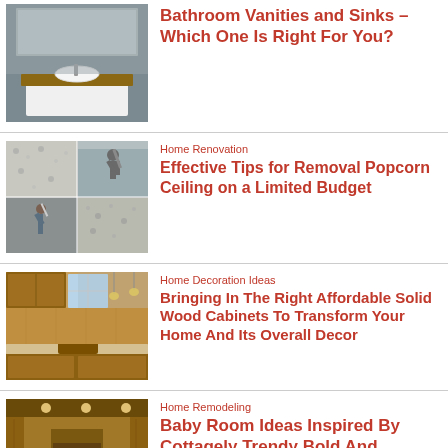[Figure (photo): Bathroom vanity with white vessel sink on wooden countertop against gray tiled wall with mirror]
Bathroom Vanities and Sinks – Which One Is Right For You?
[Figure (photo): Collage of popcorn ceiling removal: man drilling ceiling, close-up of textured ceiling, person scraping ceiling]
Home Renovation
Effective Tips for Removal Popcorn Ceiling on a Limited Budget
[Figure (photo): Collage of kitchen with solid wood cabinets in warm oak finish with pendant lights and granite countertops]
Home Decoration Ideas
Bringing In The Right Affordable Solid Wood Cabinets To Transform Your Home And Its Overall Decor
[Figure (photo): Baby room interior inspired by cottage style with warm wood tones and recessed lighting]
Home Remodeling
Baby Room Ideas Inspired By Cottagely Trendy Bold And…